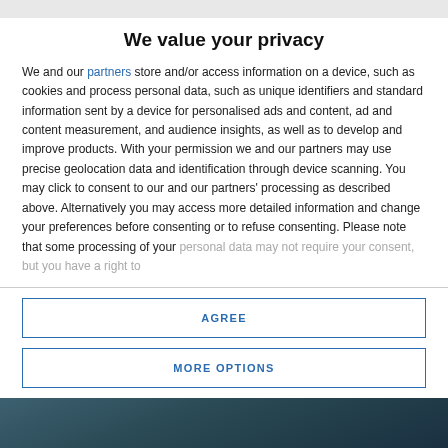We value your privacy
We and our partners store and/or access information on a device, such as cookies and process personal data, such as unique identifiers and standard information sent by a device for personalised ads and content, ad and content measurement, and audience insights, as well as to develop and improve products. With your permission we and our partners may use precise geolocation data and identification through device scanning. You may click to consent to our and our partners' processing as described above. Alternatively you may access more detailed information and change your preferences before consenting or to refuse consenting. Please note that some processing of your personal data may not require your consent, but you have a right to
AGREE
MORE OPTIONS
[Figure (photo): Dark teal/blue background image at the bottom of the page, partially visible]